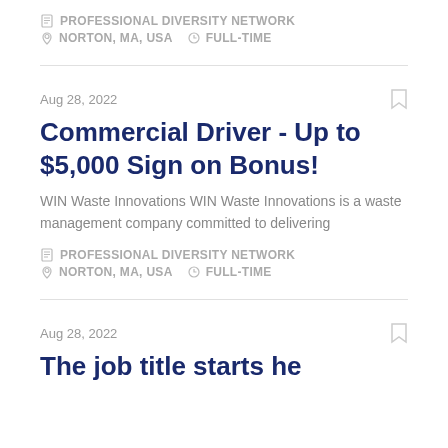PROFESSIONAL DIVERSITY NETWORK
NORTON, MA, USA   FULL-TIME
Aug 28, 2022
Commercial Driver - Up to $5,000 Sign on Bonus!
WIN Waste Innovations WIN Waste Innovations is a waste management company committed to delivering
PROFESSIONAL DIVERSITY NETWORK
NORTON, MA, USA   FULL-TIME
Aug 28, 2022
The job title starts here...